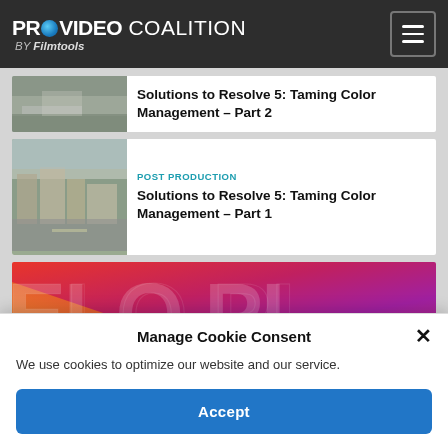PROVIDEO COALITION BY Filmtools
[Figure (screenshot): Partial article card with thumbnail image of road/street scene and partial title text 'Solutions to Resolve 5: Taming Color Management – Part 2']
Solutions to Resolve 5: Taming Color Management – Part 2
[Figure (screenshot): Article card with thumbnail of street scene with buildings, category label POST PRODUCTION, title 'Solutions to Resolve 5: Taming Color Management – Part 1']
POST PRODUCTION
Solutions to Resolve 5: Taming Color Management – Part 1
[Figure (illustration): Colorful banner image with large letters ELO PI visible, gradient background in red, orange, purple, pink colors]
Manage Cookie Consent
We use cookies to optimize our website and our service.
Accept